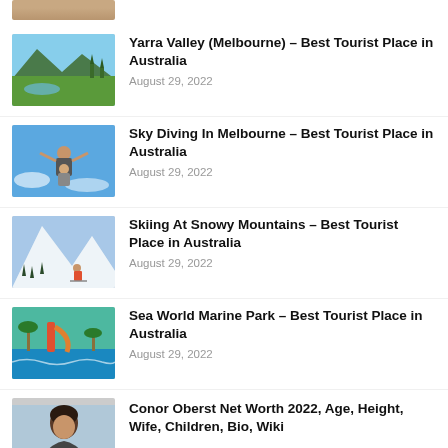[Figure (photo): Partial person photo at top, cropped head/shoulders]
Yarra Valley (Melbourne) – Best Tourist Place in Australia
August 29, 2022
[Figure (photo): Green valley landscape with mountains and lake]
Sky Diving In Melbourne – Best Tourist Place in Australia
August 29, 2022
[Figure (photo): Two people skydiving with blue sky background]
Skiing At Snowy Mountains – Best Tourist Place in Australia
August 29, 2022
[Figure (photo): Snow-covered mountain with ski slopes and trees]
Sea World Marine Park – Best Tourist Place in Australia
August 29, 2022
[Figure (photo): Sea World marine park with water rides and tropical scenery]
Conor Oberst Net Worth 2022, Age, Height, Wife, Children, Bio, Wiki
[Figure (photo): Partial photo of a person with dark hair at bottom]